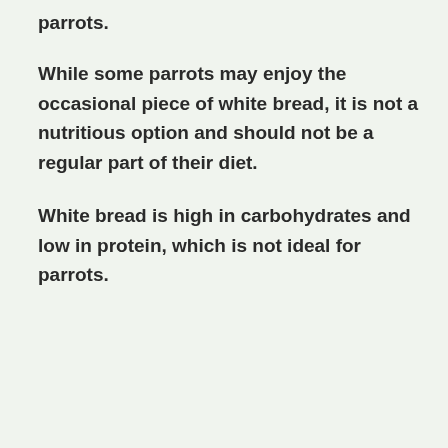parrots.
While some parrots may enjoy the occasional piece of white bread, it is not a nutritious option and should not be a regular part of their diet.
White bread is high in carbohydrates and low in protein, which is not ideal for parrots.